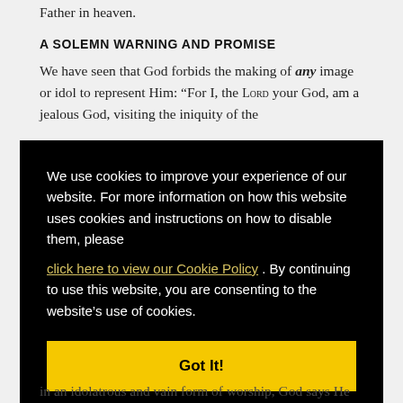Father in heaven.
A SOLEMN WARNING AND PROMISE
We have seen that God forbids the making of any image or idol to represent Him: “For I, the Lord your God, am a jealous God, visiting the iniquity of the
We use cookies to improve your experience of our website. For more information on how this website uses cookies and instructions on how to disable them, please click here to view our Cookie Policy . By continuing to use this website, you are consenting to the website’s use of cookies.
Got It!
in an idolatrous and vain form of worship, God says He